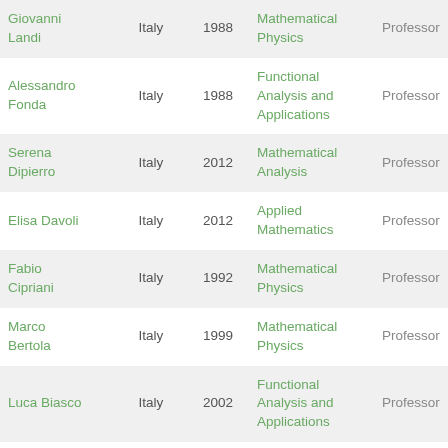| Name | Country | Year | Field | Role |
| --- | --- | --- | --- | --- |
| Giovanni Landi | Italy | 1988 | Mathematical Physics | Professor |
| Alessandro Fonda | Italy | 1988 | Functional Analysis and Applications | Professor |
| Serena Dipierro | Italy | 2012 | Mathematical Analysis | Professor |
| Elisa Davoli | Italy | 2012 | Applied Mathematics | Professor |
| Fabio Cipriani | Italy | 1992 | Mathematical Physics | Professor |
| Marco Bertola | Italy | 1999 | Mathematical Physics | Professor |
| Luca Biasco | Italy | 2002 | Functional Analysis and Applications | Professor |
| Ettore Aldrovandi | Italy | 1992 | Mathematical Physics | Professor |
| Debora ... |  |  | Functional ... |  |